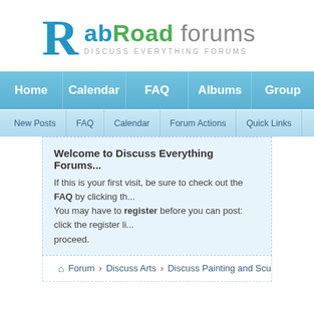[Figure (logo): abRoad forums logo with large blue R, abRoad in blue/green and grey, tagline DISCUSS EVERYTHING FORUMS]
[Figure (screenshot): Navigation bar with Home, Calendar, FAQ, Albums, Group tabs in blue, and sub-nav with New Posts, FAQ, Calendar, Forum Actions, Quick Links]
Welcome to Discuss Everything Forums... If this is your first visit, be sure to check out the FAQ by clicking th... You may have to register before you can post: click the register li... proceed.
Forum  Discuss Arts  Discuss Painting and Sculpture  Molinet pai...